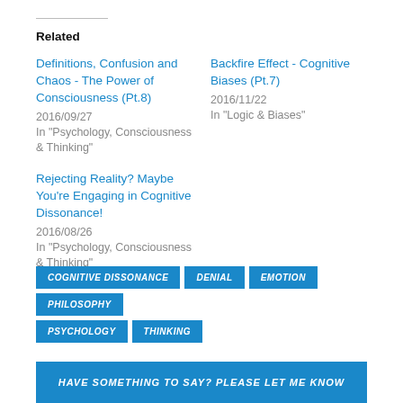Related
Definitions, Confusion and Chaos - The Power of Consciousness (Pt.8)
2016/09/27
In "Psychology, Consciousness & Thinking"
Backfire Effect - Cognitive Biases (Pt.7)
2016/11/22
In "Logic & Biases"
Rejecting Reality? Maybe You're Engaging in Cognitive Dissonance!
2016/08/26
In "Psychology, Consciousness & Thinking"
COGNITIVE DISSONANCE  DENIAL  EMOTION  PHILOSOPHY  PSYCHOLOGY  THINKING
HAVE SOMETHING TO SAY? PLEASE LET ME KNOW